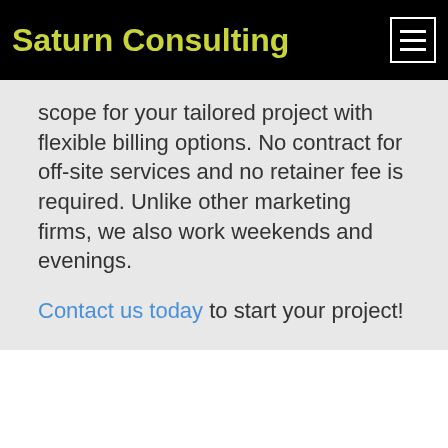Saturn Consulting
scope for your tailored project with flexible billing options. No contract for off-site services and no retainer fee is required. Unlike other marketing firms, we also work weekends and evenings.
Contact us today to start your project!
Recent